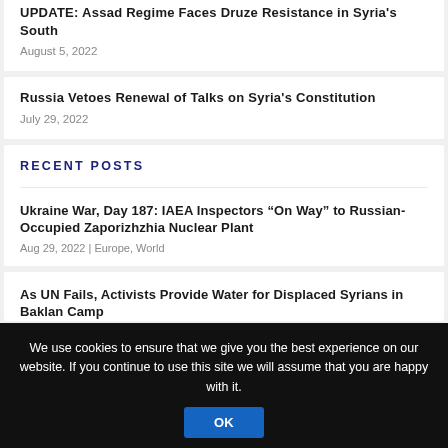UPDATE: Assad Regime Faces Druze Resistance in Syria's South
August 5, 2022
Russia Vetoes Renewal of Talks on Syria's Constitution
July 29, 2022
RECENT POSTS
Ukraine War, Day 187: IAEA Inspectors “On Way” to Russian-Occupied Zaporizhzhia Nuclear Plant
Aug 29, 2022 | Europe, World
As UN Fails, Activists Provide Water for Displaced Syrians in Baklan Camp
We use cookies to ensure that we give you the best experience on our website. If you continue to use this site we will assume that you are happy with it.
OK